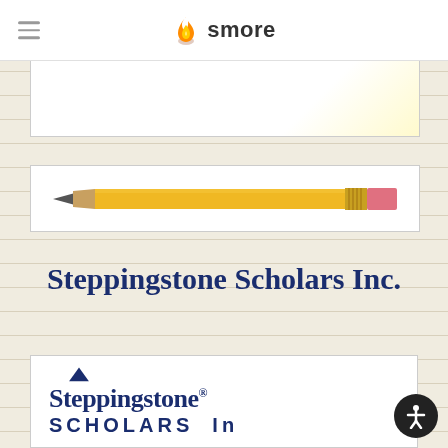smore
[Figure (illustration): Partial view of a white framed card with light yellow gradient, partially visible at top of content area]
[Figure (photo): A yellow pencil with pink eraser tip and gold ferrule, lying horizontally on white background inside a bordered frame]
Steppingstone Scholars Inc.
[Figure (logo): Steppingstone Scholars Inc. logo featuring a dark blue triangle above the word Steppingstone in dark blue serif font, followed by SCHOLARS in spaced capital letters, partially visible]